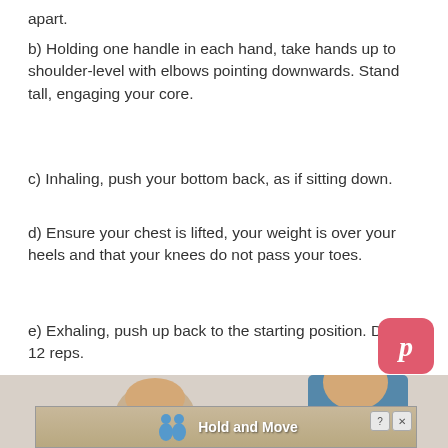apart.
b) Holding one handle in each hand, take hands up to shoulder-level with elbows pointing downwards. Stand tall, engaging your core.
c) Inhaling, push your bottom back, as if sitting down.
d) Ensure your chest is lifted, your weight is over your heels and that your knees do not pass your toes.
e) Exhaling, push up back to the starting position. Do 8-12 reps.
[Figure (photo): Two women performing resistance band exercises, with a Pinterest icon overlay in the upper right and an advertisement banner at the bottom reading 'Hold and Move']